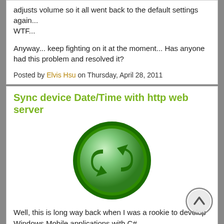adjusts volume so it all went back to the default settings again... WTF...
Anyway... keep fighting on it at the moment... Has anyone had this problem and resolved it?
Posted by Elvis Hsu on Thursday, April 28, 2011
Sync device Date/Time with http web server
[Figure (illustration): Green circular sync/refresh button icon with two circular arrows]
Well, this is long way back when I was a rookie to develop Windows Mobile applications with C#. I believe there are some people want to sync the device date/time with their web server as the device date/time somehow doesn't tick correctly after certain days. So first of all, you should have a look